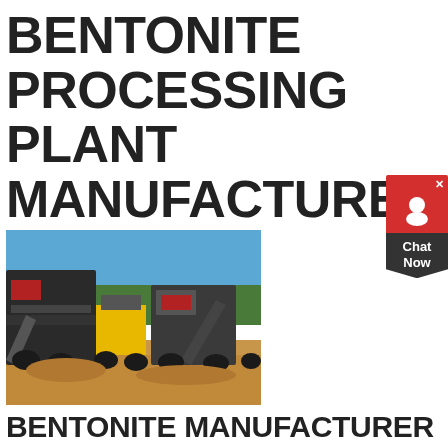BENTONITE PROCESSING PLANT MANUFACTURERS
[Figure (photo): Outdoor industrial mining/crushing plant machinery on a dirt field with blue sky and trees in background]
BENTONITE MANUFACTURER ALIBABA